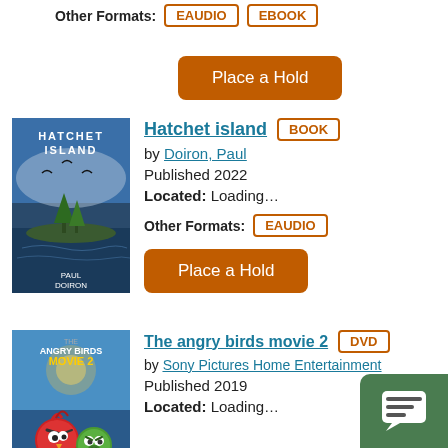Other Formats: EAUDIO EBOOK
Place a Hold
[Figure (illustration): Book cover for Hatchet Island by Paul Doiron]
Hatchet island BOOK by Doiron, Paul Published 2022 Located: Loading...
Other Formats: EAUDIO
Place a Hold
[Figure (illustration): DVD cover for The Angry Birds Movie 2]
The angry birds movie 2 DVD by Sony Pictures Home Entertainment Published 2019 Located: Loading...